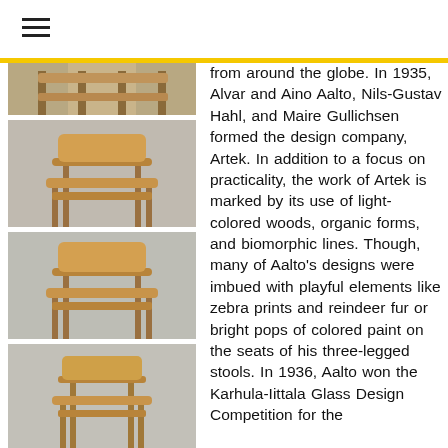[Figure (photo): Hamburger menu icon (three horizontal lines)]
[Figure (photo): Photo of a wooden two-tier side table (top partial, cut off at top)]
[Figure (photo): Photo of a wooden two-tier side table, front view]
[Figure (photo): Photo of a wooden two-tier side table, slightly different angle]
[Figure (photo): Photo of a wooden two-tier side table, lower/smaller shelf view]
[Figure (photo): Partial photo of a wooden side table, bottom of page]
from around the globe. In 1935, Alvar and Aino Aalto, Nils-Gustav Hahl, and Maire Gullichsen formed the design company, Artek. In addition to a focus on practicality, the work of Artek is marked by its use of light-colored woods, organic forms, and biomorphic lines. Though, many of Aalto’s designs were imbued with playful elements like zebra prints and reindeer fur or bright pops of colored paint on the seats of his three-legged stools. In 1936, Aalto won the Karhula-Iittala Glass Design Competition for the